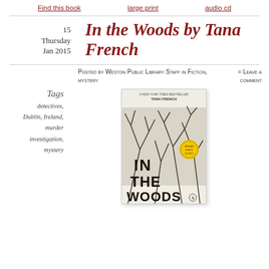Find this book   large print   audio cd
In the Woods by Tana French
15
Thursday
Jan 2015
Posted by Weston Public Library Staff in Fiction, mystery
≈ Leave a comment
Tags
detectives,
Dublin, Ireland,
murder investigation,
mystery
[Figure (photo): Book cover of 'In the Woods' by Tana French, showing dark tree branches on a white/pale background with stylized title text. Published by Penguin. Has an award medal sticker.]